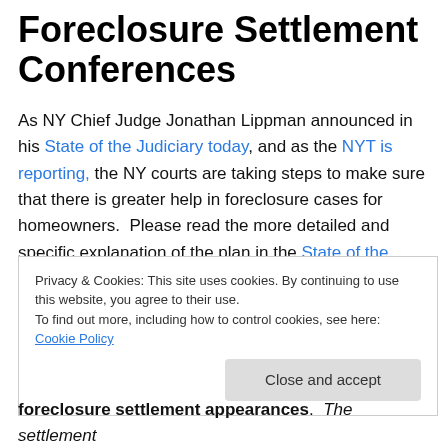Foreclosure Settlement Conferences
As NY Chief Judge Jonathan Lippman announced in his State of the Judiciary today, and as the NYT is reporting, the NY courts are taking steps to make sure that there is greater help in foreclosure cases for homeowners.  Please read the more detailed and specific explanation of the plan in the State of the Judiciary version (at p 7-9) since the above linked NYT article has language that might be read to suggest that the actual plan is broader than it is.
Privacy & Cookies: This site uses cookies. By continuing to use this website, you agree to their use.
To find out more, including how to control cookies, see here: Cookie Policy
Close and accept
foreclosure settlement appearances.  The settlement